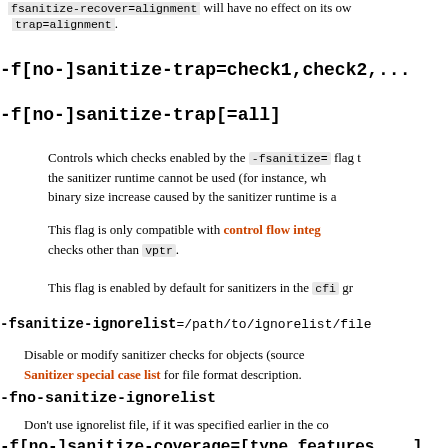fsanitize-recover=alignment will have no effect on its own without -fsanitize-trap=alignment.
-f[no-]sanitize-trap=check1,check2,...
-f[no-]sanitize-trap[=all]
Controls which checks enabled by the -fsanitize= flag that are type-based trap checks, meaning the sanitizer runtime cannot be used (for instance, when building for bare metal targets). The binary size increase caused by the sanitizer runtime is also avoided.
This flag is only compatible with control flow integrity checks other than vptr.
This flag is enabled by default for sanitizers in the cfi group.
-fsanitize-ignorelist=/path/to/ignorelist/file
Disable or modify sanitizer checks for objects (source files, functions, variables, types) listed in the file. See Sanitizer special case list for file format description.
-fno-sanitize-ignorelist
Don't use ignorelist file, if it was specified earlier in the command line.
-f[no-]sanitize-coverage=[type,features,...]